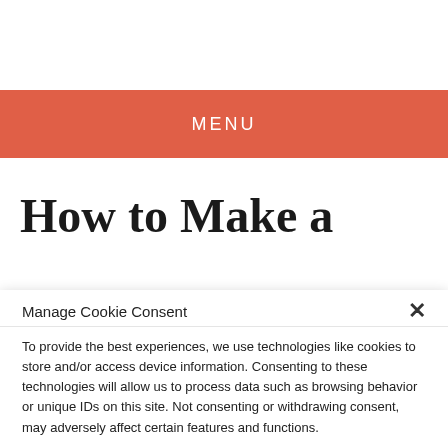MENU
How to Make a
Manage Cookie Consent
To provide the best experiences, we use technologies like cookies to store and/or access device information. Consenting to these technologies will allow us to process data such as browsing behavior or unique IDs on this site. Not consenting or withdrawing consent, may adversely affect certain features and functions.
Accept